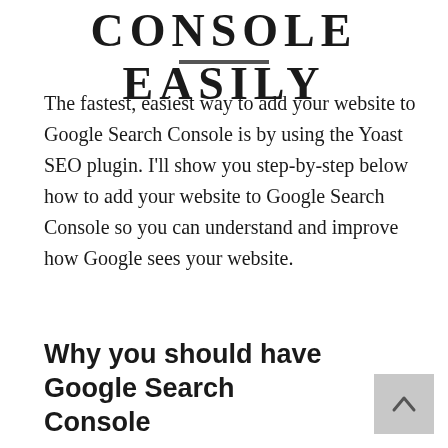CONSOLE EASILY
The fastest, easiest way to add your website to Google Search Console is by using the Yoast SEO plugin. I'll show you step-by-step below how to add your website to Google Search Console so you can understand and improve how Google sees your website.
Why you should have Google Search Console